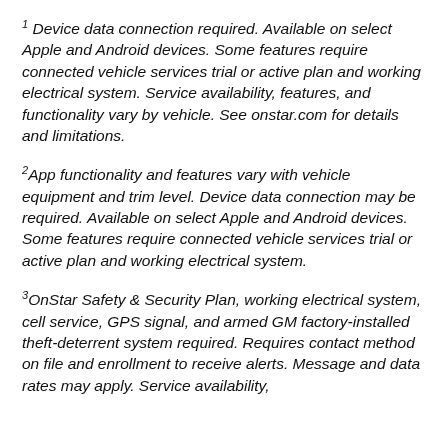1 Device data connection required. Available on select Apple and Android devices. Some features require connected vehicle services trial or active plan and working electrical system. Service availability, features, and functionality vary by vehicle. See onstar.com for details and limitations.
2 App functionality and features vary with vehicle equipment and trim level. Device data connection may be required. Available on select Apple and Android devices. Some features require connected vehicle services trial or active plan and working electrical system.
3 OnStar Safety & Security Plan, working electrical system, cell service, GPS signal, and armed GM factory-installed theft-deterrent system required. Requires contact method on file and enrollment to receive alerts. Message and data rates may apply. Service availability,